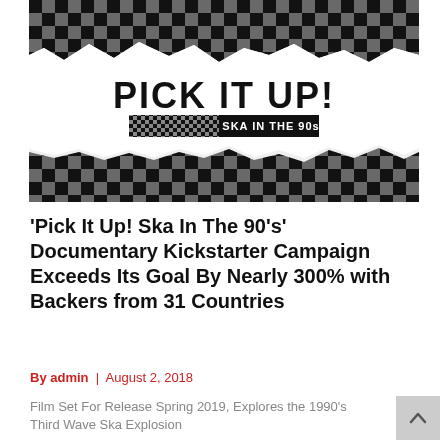[Figure (photo): Black and white checkerboard pattern image with torn paper effect revealing 'PICK IT UP! SKA IN THE 90s' documentary title logo in bold black text with checkered banner.]
'Pick It Up! Ska In The 90's' Documentary Kickstarter Campaign Exceeds Its Goal By Nearly 300% with Backers from 31 Countries
By admin | August 2, 2018
Film Set For Release Spring 2019, Explores the 1990's Third Wave Ska Explosion